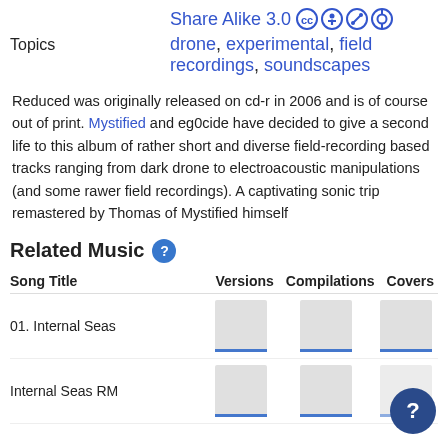Share Alike 3.0 [cc icons]
Topics: drone, experimental, field recordings, soundscapes
Reduced was originally released on cd-r in 2006 and is of course out of print. Mystified and eg0cide have decided to give a second life to this album of rather short and diverse field-recording based tracks ranging from dark drone to electroacoustic manipulations (and some rawer field recordings). A captivating sonic trip remastered by Thomas of Mystified himself
Related Music
| Song Title | Versions | Compilations | Covers |
| --- | --- | --- | --- |
| 01. Internal Seas |  |  |  |
| Internal Seas RM |  |  |  |